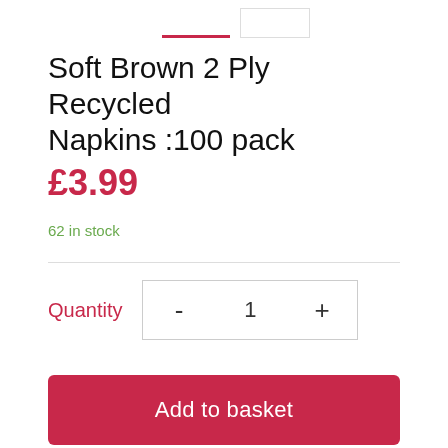[Figure (screenshot): Product thumbnail image tabs at top - one active (red underline) and one inactive (bordered)]
Soft Brown 2 Ply Recycled Napkins :100 pack
£3.99
62 in stock
Quantity  -  1  +
Add to basket
Description